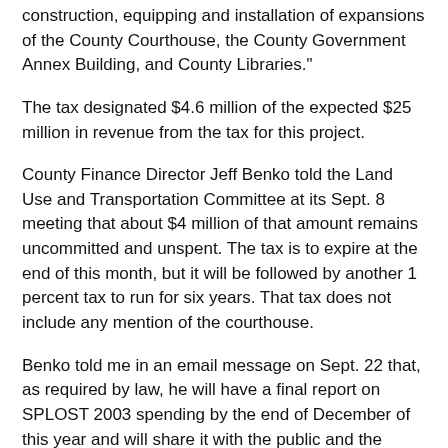construction, equipping and installation of expansions of the County Courthouse, the County Government Annex Building, and County Libraries."
The tax designated $4.6 million of the expected $25 million in revenue from the tax for this project.
County Finance Director Jeff Benko told the Land Use and Transportation Committee at its Sept. 8 meeting that about $4 million of that amount remains uncommitted and unspent. The tax is to expire at the end of this month, but it will be followed by another 1 percent tax to run for six years. That tax does not include any mention of the courthouse.
Benko told me in an email message on Sept. 22 that, as required by law, he will have a final report on SPLOST 2003 spending by the end of December of this year and will share it with the public and the board at that time.
In the discussions before the Land Use and Transportation Committee, Strategic and Long-Range Planning Director Wayne Provost, who brought the board's request for a